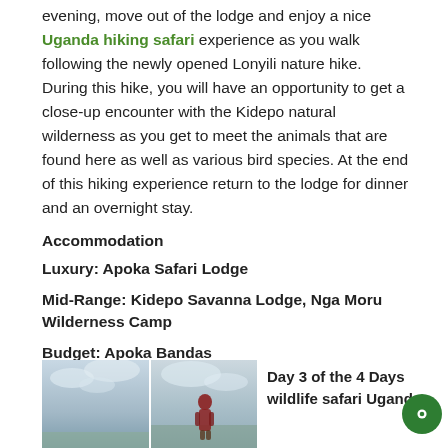evening, move out of the lodge and enjoy a nice Uganda hiking safari experience as you walk following the newly opened Lonyili nature hike. During this hike, you will have an opportunity to get a close-up encounter with the Kidepo natural wilderness as you get to meet the animals that are found here as well as various bird species. At the end of this hiking experience return to the lodge for dinner and an overnight stay.
Accommodation
Luxury: Apoka Safari Lodge
Mid-Range: Kidepo Savanna Lodge, Nga Moru Wilderness Camp
Budget: Apoka Bandas
[Figure (photo): Two-panel photo showing people/landscape in Kidepo area, person in red clothing visible]
Day 3 of the 4 Days wildlife safari Uganda